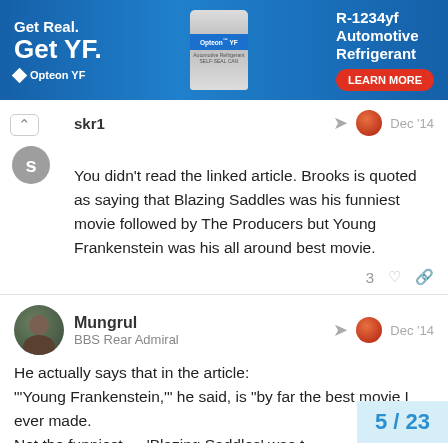[Figure (infographic): Advertisement banner for Opteon YF R-1234yf Automotive Refrigerant with blue background, can image, and LEARN MORE button]
skr1 Dec '14
You didn't read the linked article. Brooks is quoted as saying that Blazing Saddles was his funniest movie followed by The Producers but Young Frankenstein was his all around best movie.
Mungrul
BBS Rear Admiral
Dec '14
He actually says that in the article:
"'Young Frankenstein,'" he said, is "by far the best movie I ever made.
Not the funniest — 'Blazing Saddles' was t
5 / 23